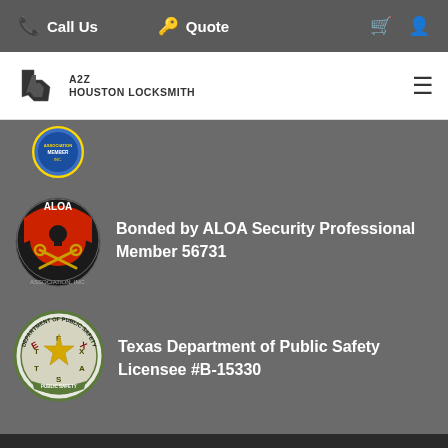Call Us   Quote
[Figure (logo): A2Z Houston Locksmith logo with Texas icon]
[Figure (logo): Partial circular blue association badge at top]
Bonded by ALOA Security Professional Member 56731
[Figure (logo): ALOA Security Professionals Association badge - red and black shield with keys]
Texas Department of Public Safety Licensee #B-15330
[Figure (logo): Texas Department of Public Safety circular seal with star]
© 2022 A2Z Houston / Hempstead Locksmith. Houston Web Design by INFINI Marketing.